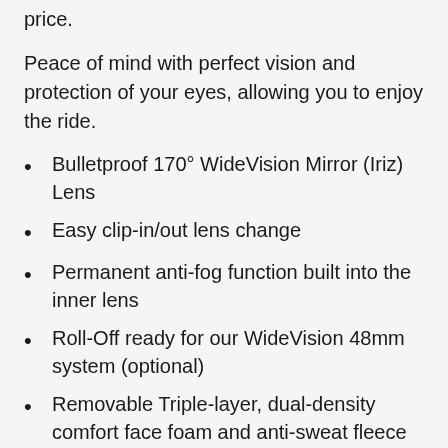price.
Peace of mind with perfect vision and protection of your eyes, allowing you to enjoy the ride.
Bulletproof 170° WideVision Mirror (Iriz) Lens
Easy clip-in/out lens change
Permanent anti-fog function built into the inner lens
Roll-Off ready for our WideVision 48mm system (optional)
Removable Triple-layer, dual-density comfort face foam and anti-sweat fleece backing
Self-draining open lower frame design allows dirt to fall from the lens
Out-riggers with a 50mm anti-slip coated strap
Tapered custom shape to fit even those difficult